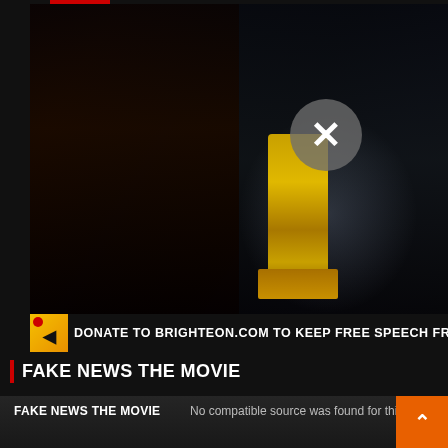[Figure (screenshot): Video thumbnail showing a collage: cartoon character running, marathon runners, a person with dark hair and yellow shirt, jumbo smoke canister product, Oscar award statue, smoke/fog, person in neon vest. Gray circle with X close button overlay in center.]
DONATE TO BRIGHTEON.COM TO KEEP FREE SPEECH FRI
FAKE NEWS THE MOVIE
[Figure (screenshot): Second video player area with dark background, showing title 'FAKE NEWS THE MOVIE', error message 'No compatible source was found for this media.', partial image of a car, orange button with up arrow, and X close button at bottom.]